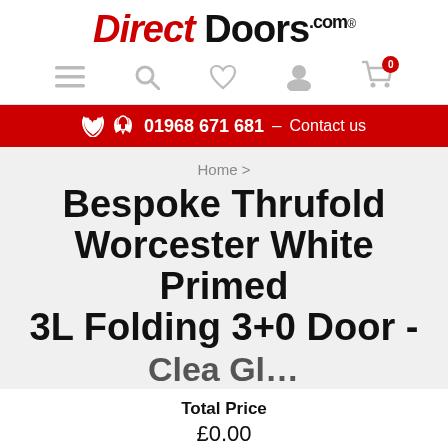Direct Doors .com®
[Figure (screenshot): Navigation icons: hamburger menu, search, heart/wishlist, user/account, shopping cart with badge 0]
☎ 01968 671 681 – Contact us
Home >
Bespoke Thrufold Worcester White Primed 3L Folding 3+0 Door - Clea Gl…
Total Price
£0.00
Choose product